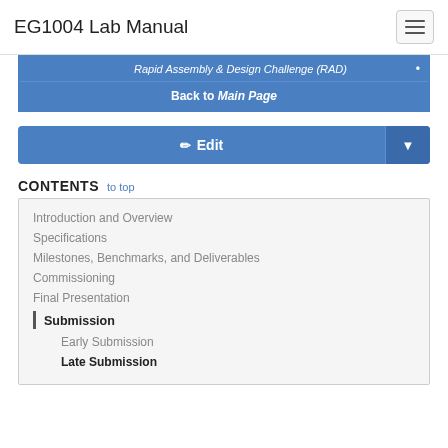EG1004 Lab Manual
[Figure (screenshot): Navigation bar with Rapid Assembly & Design Challenge (RAD) link and Back to Main Page button in blue]
[Figure (screenshot): Blue Edit button with pencil icon and dropdown arrow]
CONTENTS  to top
Introduction and Overview
Specifications
Milestones, Benchmarks, and Deliverables
Commissioning
Final Presentation
Submission
Early Submission
Late Submission